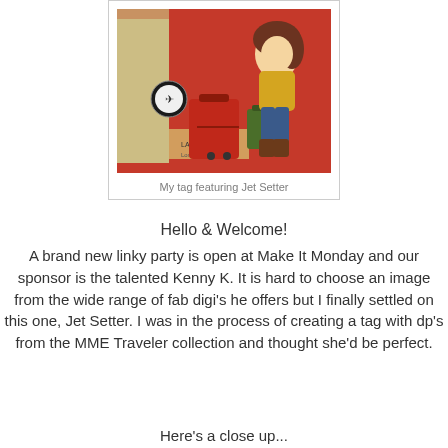[Figure (photo): A handmade craft tag featuring the Jet Setter character - a cartoon woman in yellow jacket with red luggage, travel-themed background]
My tag featuring Jet Setter
Hello & Welcome!
A brand new linky party is open at Make It Monday and our sponsor is the talented Kenny K. It is hard to choose an image from the wide range of fab digi's he offers but I finally settled on this one, Jet Setter. I was in the process of creating a tag with dp's from the MME Traveler collection and thought she'd be perfect.
Here's a close up...